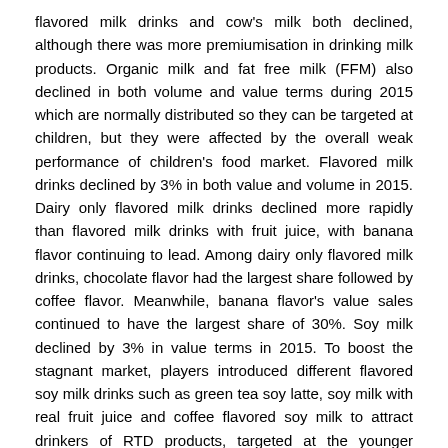flavored milk drinks and cow's milk both declined, although there was more premiumisation in drinking milk products. Organic milk and fat free milk (FFM) also declined in both volume and value terms during 2015 which are normally distributed so they can be targeted at children, but they were affected by the overall weak performance of children's food market. Flavored milk drinks declined by 3% in both value and volume in 2015. Dairy only flavored milk drinks declined more rapidly than flavored milk drinks with fruit juice, with banana flavor continuing to lead. Among dairy only flavored milk drinks, chocolate flavor had the largest share followed by coffee flavor. Meanwhile, banana flavor's value sales continued to have the largest share of 30%. Soy milk declined by 3% in value terms in 2015. To boost the stagnant market, players introduced different flavored soy milk drinks such as green tea soy latte, soy milk with real fruit juice and coffee flavored soy milk to attract drinkers of RTD products, targeted at the younger consumer group.
Marketing
Seoul Dairy Cooperative maintained the leading position with a 31% value share of drinking milk products. The company introduced reduced fat fresh milk in March 2015, which helped it gain more value share. The company attracted consumer interest in fresh milk with new products. The second and third players in drinking milk, Maeil Dairies Co. and Namyang Dairy Products Co. had a combined value share of 10%...